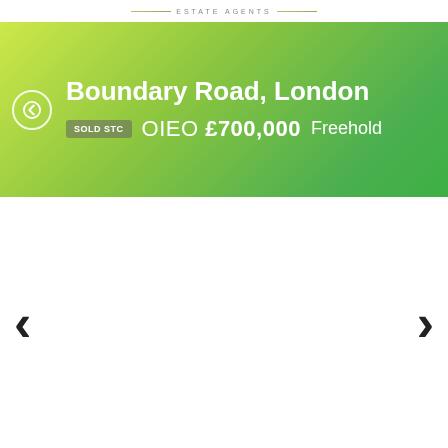ESTATE AGENTS
Boundary Road, London
SOLD STC  OIEO £700,000  Freehold
[Figure (screenshot): Navigation arrows (left chevron and right chevron) for an image gallery on a property listing page]